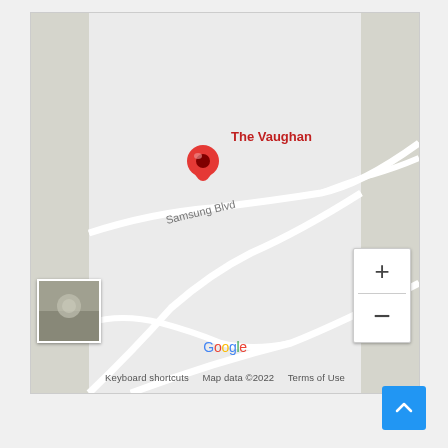[Figure (map): Google Maps screenshot showing a location pin labeled 'The Vaughan' on Samsung Blvd, with zoom controls (+/-), a street view thumbnail, Google logo, and map attribution: Keyboard shortcuts, Map data ©2022, Terms of Use.]
Keyboard shortcuts    Map data ©2022    Terms of Use